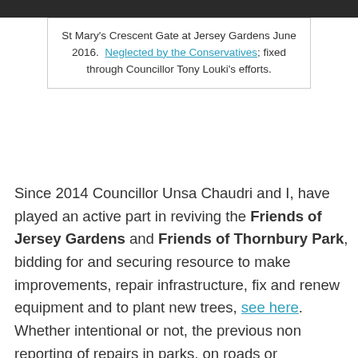[Figure (photo): Top strip of a photo showing Jersey Gardens — dark foliage/gate visible at top of image]
St Mary's Crescent Gate at Jersey Gardens June 2016. Neglected by the Conservatives; fixed through Councillor Tony Louki's efforts.
Since 2014 Councillor Unsa Chaudri and I, have played an active part in reviving the Friends of Jersey Gardens and Friends of Thornbury Park, bidding for and securing resource to make improvements, repair infrastructure, fix and renew equipment and to plant new trees, see here. Whether intentional or not, the previous non reporting of repairs in parks, on roads or pavements by Conservatives makes it